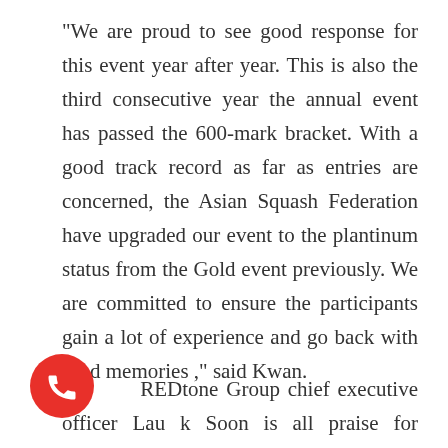"We are proud to see good response for this event year after year. This is also the third consecutive year the annual event has passed the 600-mark bracket. With a good track record as far as entries are concerned, the Asian Squash Federation have upgraded our event to the plantinum status from the Gold event previously. We are committed to ensure the participants gain a lot of experience and go back with fond memories ," said Kwan.
REDtone Group chief executive officer Lau k Soon is all praise for SRAFT and is happy to be associated with their commitment and
[Figure (illustration): Red circular phone/call button icon with white telephone handset symbol]